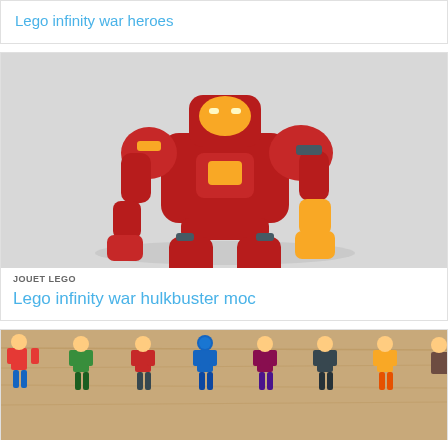Lego infinity war heroes
[Figure (photo): LEGO Hulkbuster moc figure in red and gold armor posed on white background]
JOUET LEGO
Lego infinity war hulkbuster moc
[Figure (photo): LEGO Avengers Infinity War minifigures lined up on a wooden surface]